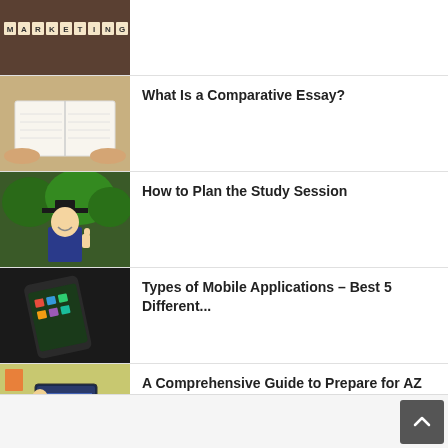[Figure (photo): Marketing scrabble tiles on wood background (partially visible)]
[Figure (photo): Open notebook on wooden table with hands]
What Is a Comparative Essay?
[Figure (photo): Graduate in cap and gown giving thumbs up outdoors]
How to Plan the Study Session
[Figure (photo): Smartphone lying on dark surface]
Types of Mobile Applications – Best 5 Different...
[Figure (photo): Person studying at computer in colorful room]
A Comprehensive Guide to Prepare for AZ 400 Exam